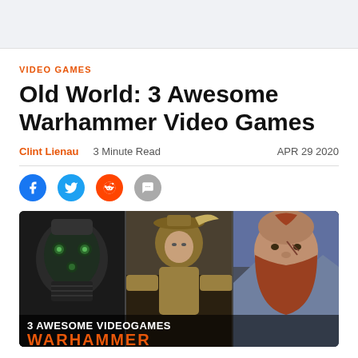VIDEO GAMES
Old World: 3 Awesome Warhammer Video Games
Clint Lienau   3 Minute Read   APR 29 2020
[Figure (illustration): Social sharing icons: Facebook, Twitter, Reddit, and Comment/Chat bubbles]
[Figure (photo): Composite hero image of three Warhammer video game characters side by side. Left panel shows a dark mechanical/chaos figure with a green mechanical face. Center panel shows a man in golden armor and hat. Right panel shows a bald red-bearded dwarf with a scar. Overlaid text reads '3 AWESOME VIDEOGAMES' in white and 'WARHAMMER' in orange.]